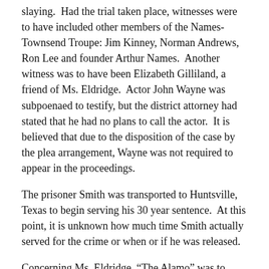slaying.  Had the trial taken place, witnesses were to have included other members of the Names-Townsend Troupe: Jim Kinney, Norman Andrews, Ron Lee and founder Arthur Names.  Another witness was to have been Elizabeth Gilliland, a friend of Ms. Eldridge.  Actor John Wayne was subpoenaed to testify, but the district attorney had stated that he had no plans to call the actor.  It is believed that due to the disposition of the case by the plea arrangement, Wayne was not required to appear in the proceedings.
The prisoner Smith was transported to Huntsville, Texas to begin serving his 30 year sentence.  At this point, it is unknown how much time Smith actually served for the crime or when or if he was released.
Concerning Ms. Eldridge, “The Alamo” was to have been her first film engagement.  Because of the fear of prosecution and litigation, she was apparently cited